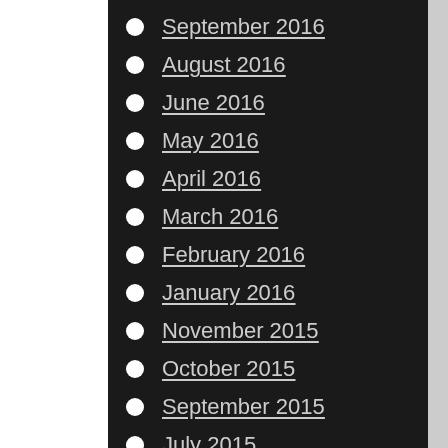September 2016
August 2016
June 2016
May 2016
April 2016
March 2016
February 2016
January 2016
November 2015
October 2015
September 2015
July 2015
May 2015
March 2015